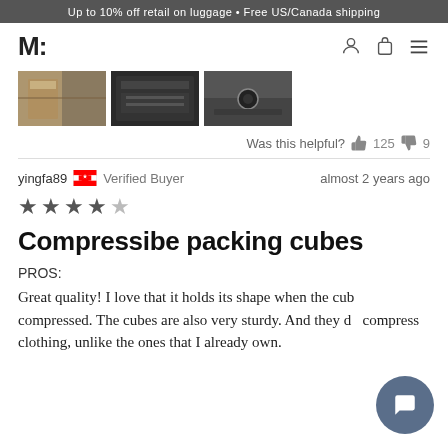Up to 10% off retail on luggage • Free US/Canada shipping
[Figure (logo): M: logo mark in bold sans-serif]
[Figure (photo): Three thumbnail images of packing cubes]
Was this helpful? 125 9
yingfa89 [CA flag] Verified Buyer   almost 2 years ago
[Figure (other): 4 out of 5 star rating]
Compressibe packing cubes
PROS:
Great quality! I love that it holds its shape when the cubes are compressed. The cubes are also very sturdy. And they do compress clothing, unlike the ones that I already own.